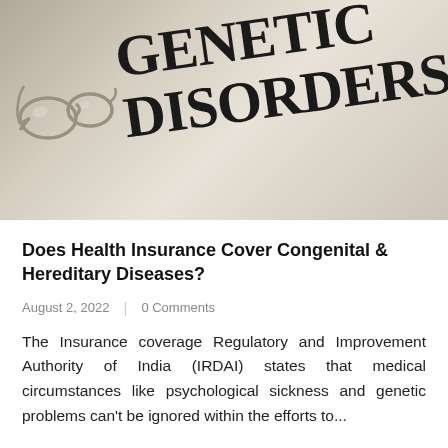[Figure (photo): A close-up photo of a document or book titled 'GENETIC DISORDERS' in large serif font, with a pair of glasses resting on the left side. The background has warm beige/gray tones.]
Does Health Insurance Cover Congenital & Hereditary Diseases?
August 2, 2022   |   0 Comments
The Insurance coverage Regulatory and Improvement Authority of India (IRDAI) states that medical circumstances like psychological sickness and genetic problems can't be ignored within the efforts to...